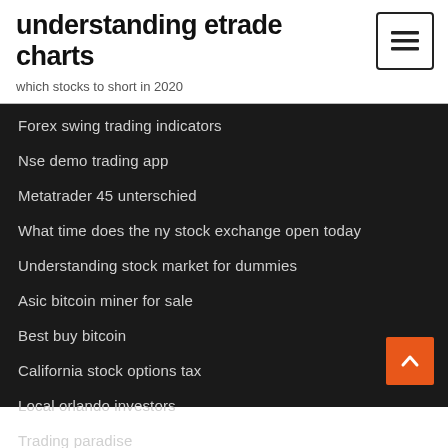understanding etrade charts
which stocks to short in 2020
Forex swing trading indicators
Nse demo trading app
Metatrader 45 unterschied
What time does the ny stock exchange open today
Understanding stock market for dummies
Asic bitcoin miner for sale
Best buy bitcoin
California stock options tax
Local orlando investors
Trading paradise